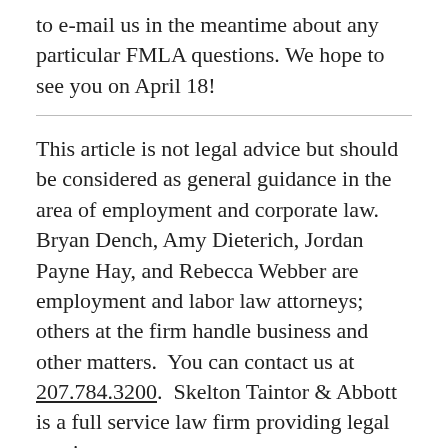to e-mail us in the meantime about any particular FMLA questions. We hope to see you on April 18!
This article is not legal advice but should be considered as general guidance in the area of employment and corporate law.  Bryan Dench, Amy Dieterich, Jordan Payne Hay, and Rebecca Webber are employment and labor law attorneys; others at the firm handle business and other matters.  You can contact us at 207.784.3200.  Skelton Taintor & Abbott is a full service law firm providing legal services to